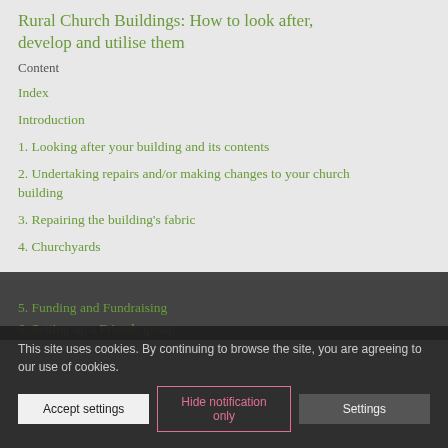Rural Church Buildings: How to look after, develop and utilise them
Content
Index
Introduction
1. Looking after your building and its contents
2. Undertaking repairs and/or making changes to your church building
3. Repairing the building's fabric
4. Churchyards
5. Funding and Fundraising
6. Setting up a Friends group
This site uses cookies. By continuing to browse the site, you are agreeing to our use of cookies.